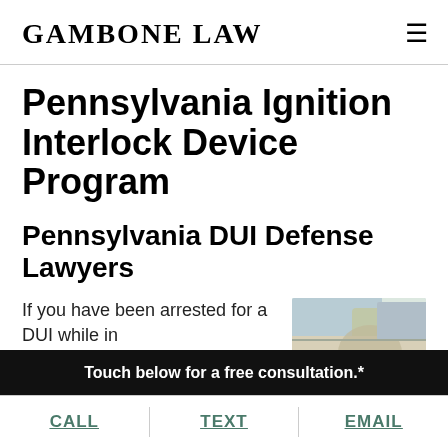Gambone Law
Pennsylvania Ignition Interlock Device Program
Pennsylvania DUI Defense Lawyers
If you have been arrested for a DUI while in
[Figure (photo): Photo of a car door window with a person inside]
Touch below for a free consultation.*
CALL  TEXT  EMAIL